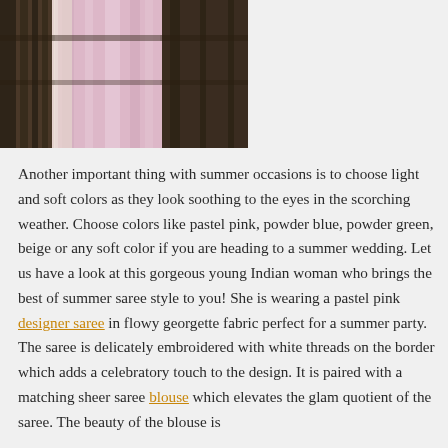[Figure (photo): Photo of a pink/pastel saree hanging, showing delicate georgette fabric with embroidered border details, photographed outdoors with wooden railing visible in background.]
Another important thing with summer occasions is to choose light and soft colors as they look soothing to the eyes in the scorching weather. Choose colors like pastel pink, powder blue, powder green, beige or any soft color if you are heading to a summer wedding. Let us have a look at this gorgeous young Indian woman who brings the best of summer saree style to you! She is wearing a pastel pink designer saree in flowy georgette fabric perfect for a summer party. The saree is delicately embroidered with white threads on the border which adds a celebratory touch to the design. It is paired with a matching sheer saree blouse which elevates the glam quotient of the saree. The beauty of the blouse is